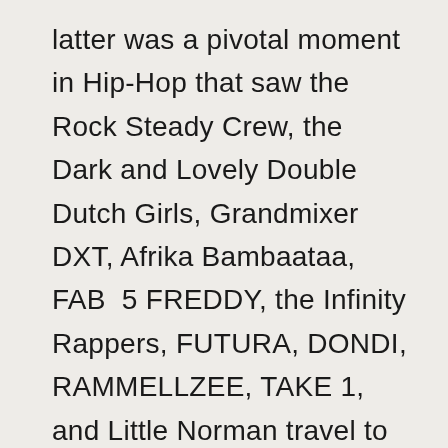latter was a pivotal moment in Hip-Hop that saw the Rock Steady Crew, the Dark and Lovely Double Dutch Girls, Grandmixer DXT, Afrika Bambaataa, FAB 5 FREDDY, the Infinity Rappers, FUTURA, DONDI, RAMMELLZEE, TAKE 1, and Little Norman travel to England and France, providing the culture its first international exposure.

"PHASE 2 comes along." FAB 5 FREDDY